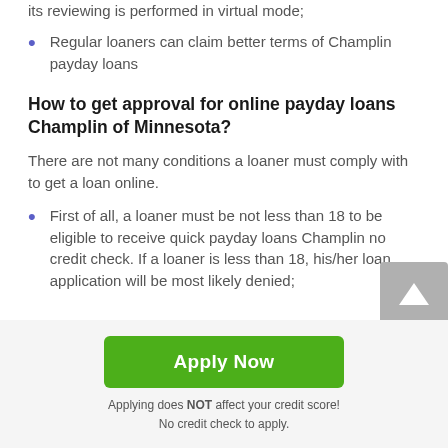its reviewing is performed in virtual mode;
Regular loaners can claim better terms of Champlin payday loans
How to get approval for online payday loans Champlin of Minnesota?
There are not many conditions a loaner must comply with to get a loan online.
First of all, a loaner must be not less than 18 to be eligible to receive quick payday loans Champlin no credit check. If a loaner is less than 18, his/her loan application will be most likely denied;
Apply Now
Applying does NOT affect your credit score!
No credit check to apply.